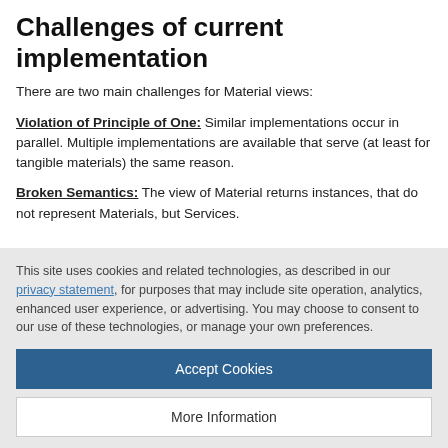Challenges of current implementation
There are two main challenges for Material views:
Violation of Principle of One: Similar implementations occur in parallel. Multiple implementations are available that serve (at least for tangible materials) the same reason.
Broken Semantics: The view of Material returns instances, that do not represent Materials, but Services.
This site uses cookies and related technologies, as described in our privacy statement, for purposes that may include site operation, analytics, enhanced user experience, or advertising. You may choose to consent to our use of these technologies, or manage your own preferences.
Accept Cookies
More Information
Privacy Policy | Powered by: TrustArc